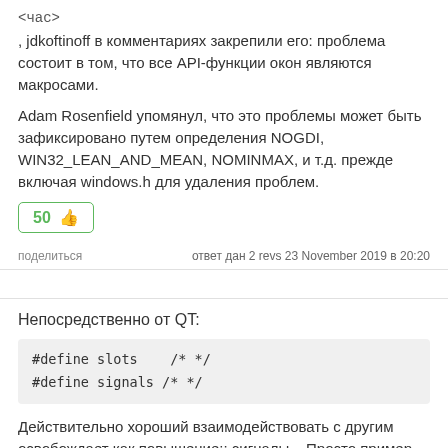<час>
, jdkoftinoff в комментариях закрепили его: проблема состоит в том, что все API-функции окон являются макросами.
Adam Rosenfield упомянул, что это проблемы может быть зафиксировано путем определения NOGDI, WIN32_LEAN_AND_MEAN, NOMINMAX, и т.д. прежде включая windows.h для удаления проблем.
50 👍
поделиться    ответ дан 2 revs 23 November 2019 в 20:20
Непосредственно от QT:
#define slots    /* */
#define signals /* */
Действительно хороший взаимодействовать с другим освобождает как повышение:: сигналы... Просто пример, существуют многие другие в QT, которые